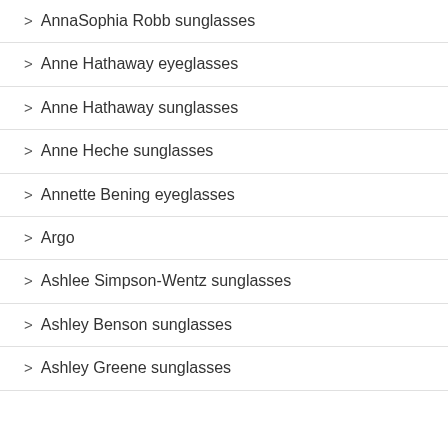> AnnaSophia Robb sunglasses
> Anne Hathaway eyeglasses
> Anne Hathaway sunglasses
> Anne Heche sunglasses
> Annette Bening eyeglasses
> Argo
> Ashlee Simpson-Wentz sunglasses
> Ashley Benson sunglasses
> Ashley Greene sunglasses